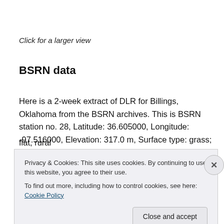Click for a larger view
BSRN data
Here is a 2-week extract of DLR for Billings, Oklahoma from the BSRN archives. This is BSRN station no. 28, Latitude: 36.605000, Longitude: -97.516000, Elevation: 317.0 m, Surface type: grass; Topography type: flat, rural
Privacy & Cookies: This site uses cookies. By continuing to use this website, you agree to their use.
To find out more, including how to control cookies, see here: Cookie Policy